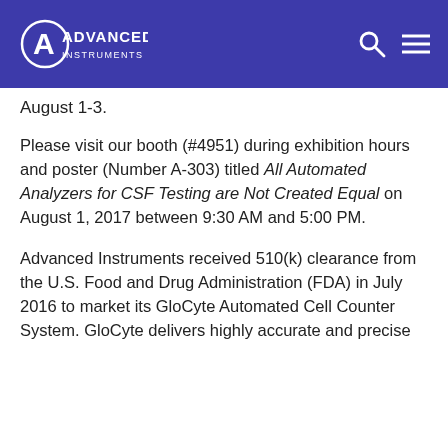ADVANCED INSTRUMENTS
August 1-3.
Please visit our booth (#4951) during exhibition hours and poster (Number A-303) titled All Automated Analyzers for CSF Testing are Not Created Equal on August 1, 2017 between 9:30 AM and 5:00 PM.
Advanced Instruments received 510(k) clearance from the U.S. Food and Drug Administration (FDA) in July 2016 to market its GloCyte Automated Cell Counter System. GloCyte delivers highly accurate and precise